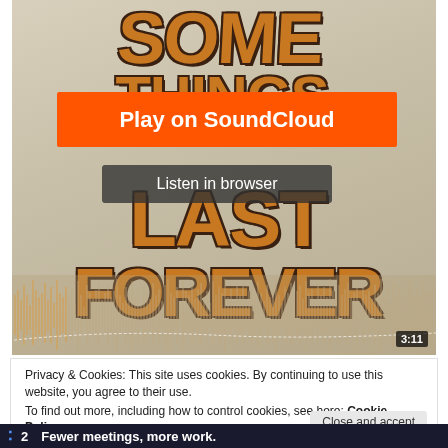[Figure (screenshot): SoundCloud embedded music player showing album artwork for 'Some Things Last Forever' with orange and brown decorative lettering on a beige/tan background. A waveform audio visualization is shown at the bottom of the artwork with a time indicator showing 3:11. Two overlay buttons appear: an orange 'Play on SoundCloud' button and a dark 'Listen in browser' button.]
Privacy & Cookies: This site uses cookies. By continuing to use this website, you agree to their use.
To find out more, including how to control cookies, see here: Cookie Policy
Close and accept
Fewer meetings, more work.